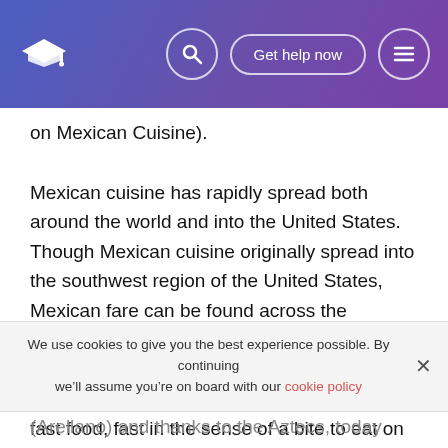Get help now
on Mexican Cuisine).
Mexican cuisine has rapidly spread both around the world and into the United States. Though Mexican cuisine originally spread into the southwest region of the United States, Mexican fare can be found across the country. Just like with most of our cuisine, Mexican food has also been turned into fast food. A taqueria “is an establishment that sells fast food, fast in the sense of a bite to eat on the run” (Thorn). Chains such as as Taco Bell, Chipotle, Qdoba, Moes and Chevys have sprung up across can be found within miles of one another, across the United States. Today,
We use cookies to give you the best experience possible. By continuing we’ll assume you’re on board with our cookie policy
(Arellano) and thanks to the Aztecs, today corn is the third